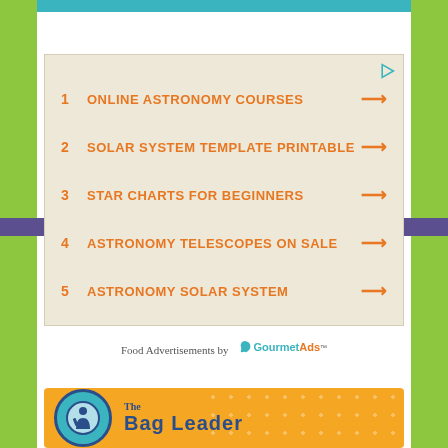[Figure (screenshot): Teal banner bar at the top of the page content area]
1   ONLINE ASTRONOMY COURSES
2   SOLAR SYSTEM TEMPLATE PRINTABLE
3   STAR CHARTS FOR BEGINNERS
4   ASTRONOMY TELESCOPES ON SALE
5   ASTRONOMY SOLAR SYSTEM
Food Advertisements by GourmetAds
[Figure (logo): The Bag Leader promotional banner image with circular logo on yellow/orange background with dot pattern]